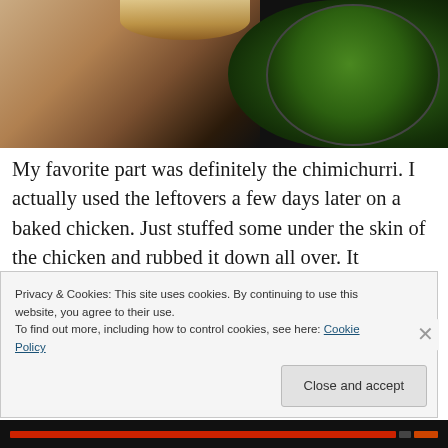[Figure (photo): Close-up photo showing a hand holding bread with a bowl of green chimichurri sauce on a dark background]
My favorite part was definitely the chimichurri. I actually used the leftovers a few days later on a baked chicken. Just stuffed some under the skin of the chicken and rubbed it down all over. It seriously tasted so good. You might will have some left over of this so experiment, have
Privacy & Cookies: This site uses cookies. By continuing to use this website, you agree to their use.
To find out more, including how to control cookies, see here: Cookie Policy